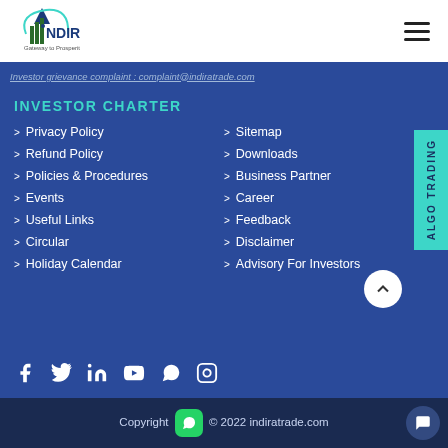Indira — Gateway to Prosperity
Investor grievance complaint : complaint@indiratrade.com
INVESTOR CHARTER
Privacy Policy
Sitemap
Refund Policy
Downloads
Policies & Procedures
Business Partner
Events
Career
Useful Links
Feedback
Circular
Disclaimer
Holiday Calendar
Advisory For Investors
Copyright © 2022 indiratrade.com